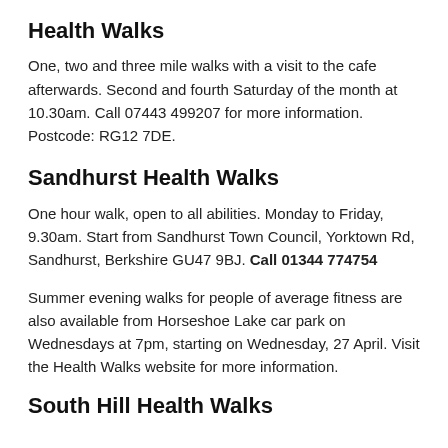Health Walks
One, two and three mile walks with a visit to the cafe afterwards. Second and fourth Saturday of the month at 10.30am. Call 07443 499207 for more information. Postcode: RG12 7DE.
Sandhurst Health Walks
One hour walk, open to all abilities. Monday to Friday, 9.30am. Start from Sandhurst Town Council, Yorktown Rd, Sandhurst, Berkshire GU47 9BJ. Call 01344 774754
Summer evening walks for people of average fitness are also available from Horseshoe Lake car park on Wednesdays at 7pm, starting on Wednesday, 27 April. Visit the Health Walks website for more information.
South Hill Health Walks